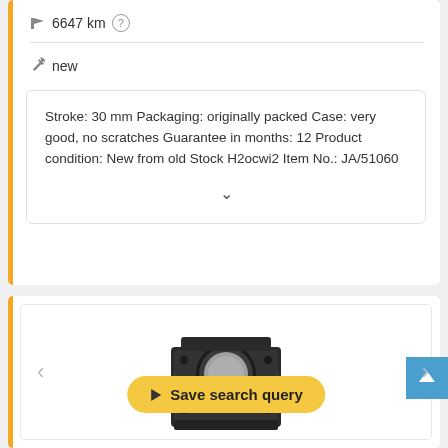6647 km
new
Stroke: 30 mm Packaging: originally packed Case: very good, no scratches Guarantee in months: 12 Product condition: New from old Stock H2ocwi2 Item No.: JA/51060
[Figure (photo): Industrial mechanical component - appears to be a pneumatic or hydraulic actuator/cylinder block, black metal, square shape with circular window/port on top and mounting bolts]
Save search query